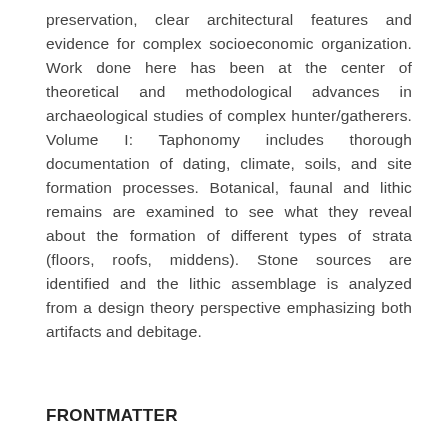preservation, clear architectural features and evidence for complex socioeconomic organization. Work done here has been at the center of theoretical and methodological advances in archaeological studies of complex hunter/gatherers. Volume I: Taphonomy includes thorough documentation of dating, climate, soils, and site formation processes. Botanical, faunal and lithic remains are examined to see what they reveal about the formation of different types of strata (floors, roofs, middens). Stone sources are identified and the lithic assemblage is analyzed from a design theory perspective emphasizing both artifacts and debitage.
FRONTMATTER